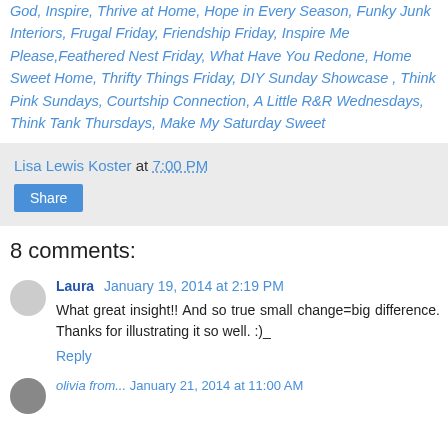God, Inspire, Thrive at Home, Hope in Every Season, Funky Junk Interiors, Frugal Friday, Friendship Friday, Inspire Me Please, Feathered Nest Friday, What Have You Redone, Home Sweet Home, Thrifty Things Friday, DIY Sunday Showcase, Think Pink Sundays, Courtship Connection, A Little R&R Wednesdays, Think Tank Thursdays, Make My Saturday Sweet
Lisa Lewis Koster at 7:00 PM
Share
8 comments:
Laura January 19, 2014 at 2:19 PM
What great insight!! And so true small change=big difference. Thanks for illustrating it so well. :)_
Reply